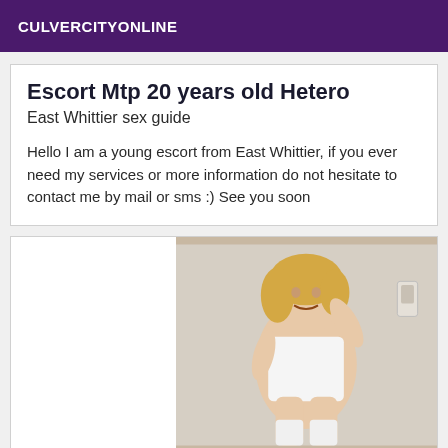CULVERCITYONLINE
Escort Mtp 20 years old Hetero
East Whittier sex guide
Hello I am a young escort from East Whittier, if you ever need my services or more information do not hesitate to contact me by mail or sms :) See you soon
[Figure (photo): Photo of a young blonde woman in white lingerie posing in a room]